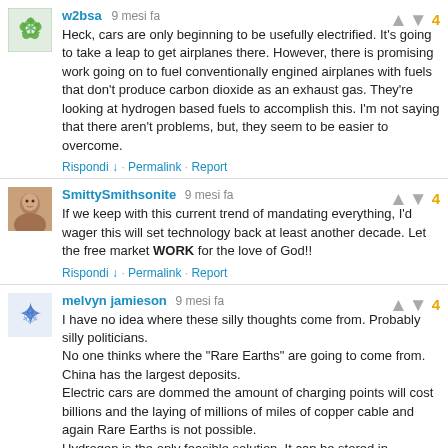w2bsa · 9 mesi fa
Heck, cars are only beginning to be usefully electrified. It's going to take a leap to get airplanes there. However, there is promising work going on to fuel conventionally engined airplanes with fuels that don't produce carbon dioxide as an exhaust gas. They're looking at hydrogen based fuels to accomplish this. I'm not saying that there aren't problems, but, they seem to be easier to overcome.
Rispondi ↓ · Permalink · Report
SmittySmithsonite · 9 mesi fa
If we keep with this current trend of mandating everything, I'd wager this will set technology back at least another decade. Let the free market WORK for the love of God!!
Rispondi ↓ · Permalink · Report
melvyn jamieson · 9 mesi fa
I have no idea where these silly thoughts come from. Probably silly politicians.
No one thinks where the "Rare Earths" are going to come from. China has the largest deposits.
Electric cars are dommed the amount of charging points will cost billions and the laying of millions of miles of copper cable and again Rare Earths is not possible.
Hydrogen is the only feasible solution. It can be stored in depleted oil fields, with no need for electric motors.
Where are they intending to send the old batteries?.
Mel...l